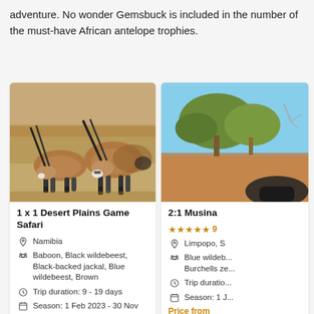adventure. No wonder Gemsbuck is included in the number of the must-have African antelope trophies.
[Figure (photo): Two gemsbuck (oryx) antelopes grazing head-down in dry savanna grassland, facing each other with long straight horns.]
1 x 1 Desert Plains Game Safari
Namibia
Baboon, Black wildebeest, Black-backed jackal, Blue wildebeest, Brown
Trip duration: 9 - 19 days
Season: 1 Feb 2023 - 30 Nov 2023
Price from
[Figure (photo): Partial view of another safari card showing dry bush landscape with trees and a partially visible animal, with rating stars and truncated text: 2:1 Musina...]
2:1 Musina
9 (rating stars)
Limpopo, S...
Blue wildeb... Burchells ze...
Trip duratio...
Season: 1 J...
Price from